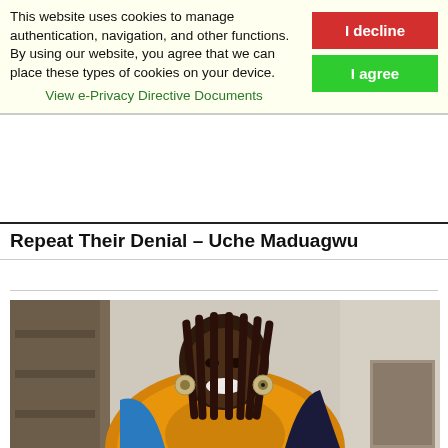This website uses cookies to manage authentication, navigation, and other functions. By using our website, you agree that we can place these types of cookies on your device. View e-Privacy Directive Documents
Repeat Their Denial – Uche Maduagwu
[Figure (photo): A smiling woman with long braided dark hair wearing a colorful African print dress/top with orange, blue, green and pink patterns. She has large circular earrings and is photographed indoors.]